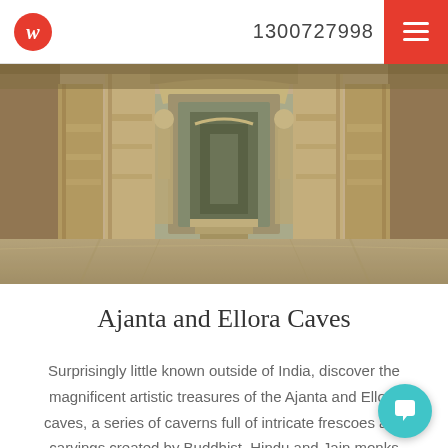w  1300727998
[Figure (photo): Interior of Ajanta or Ellora caves showing ornate carved stone pillars, doorways, and sculptures with warm golden-brown tones]
Ajanta and Ellora Caves
Surprisingly little known outside of India, discover the magnificent artistic treasures of the Ajanta and Ellora caves, a series of caverns full of intricate frescoes and carvings created by Buddhist, Hindu and Jain monks